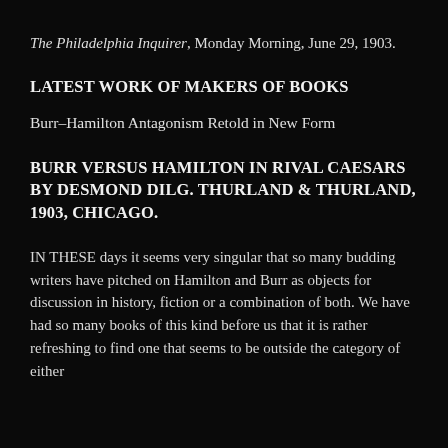The Philadelphia Inquirer, Monday Morning, June 29, 1903.
LATEST WORK OF MAKERS OF BOOKS
Burr–Hamilton Antagonism Retold in New Form
BURR VERSUS HAMILTON IN RIVAL CAESARS BY DESMOND DILG. THURLAND & THURLAND, 1903, CHICAGO.
IN THESE days it seems very singular that so many budding writers have pitched on Hamilton and Burr as objects for discussion in history, fiction or a combination of both. We have had so many books of this kind before us that it is rather refreshing to find one that seems to be outside the category of either